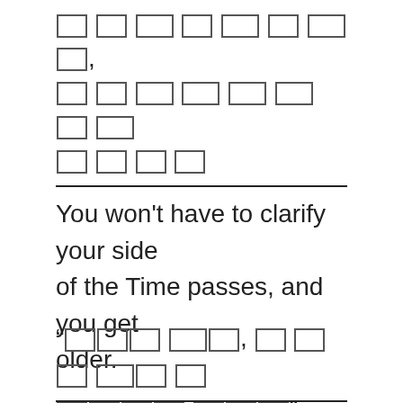[redacted text block] You won't have to clarify your side of the Time passes, and you get older. [redacted quote text]
You won't have to clarify your side of the Time passes, and you get older.
“[redacted text]”